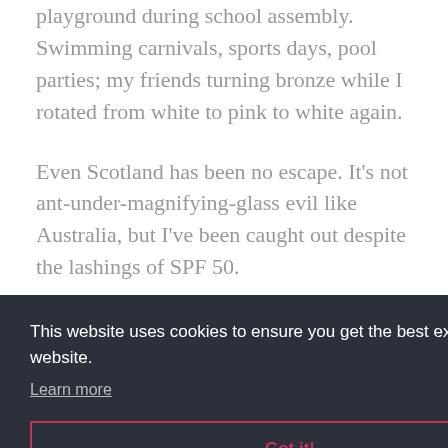playground during school assembly. Swimming carnivals, sports days, pool parties; my friends turning bronze while I rotated from white to pink to white again.
Even Scotland has been no escape. It’s not ant-under-magnifying-glass evil like Australia, but I’ve been caught out despite the lashings of SPF 50.
This website uses cookies to ensure you get the best experience on our website.
Learn more
Got it!
have scooped out the dodgy bits and I’ll feel like an